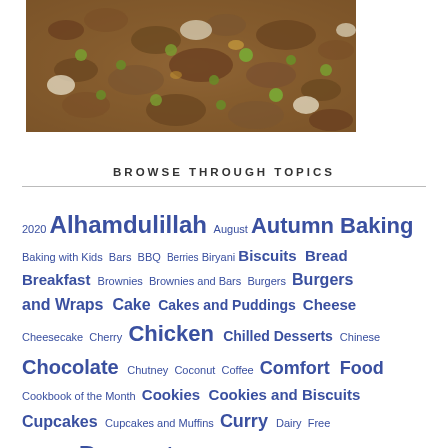[Figure (photo): Close-up photo of a cooked dish with minced meat, green peas, and onions on a white plate]
BROWSE THROUGH TOPICS
2020 Alhamdulillah August Autumn Baking Baking with Kids Bars BBQ Berries Biryani Biscuits Bread Breakfast Brownies Brownies and Bars Burgers Burgers and Wraps Cake Cakes and Puddings Cheese Cheesecake Cherry Chicken Chilled Desserts Chinese Chocolate Chutney Coconut Coffee Comfort Food Cookbook of the Month Cookies Cookies and Biscuits Cupcakes Cupcakes and Muffins Curry Dairy Free December Desserts Doughnuts Drinks Easy Eggs February Fish Flapjacks Frozen Treats Fruit Gluten Free Grilling Healthy Recipes Ice Cream Italian January